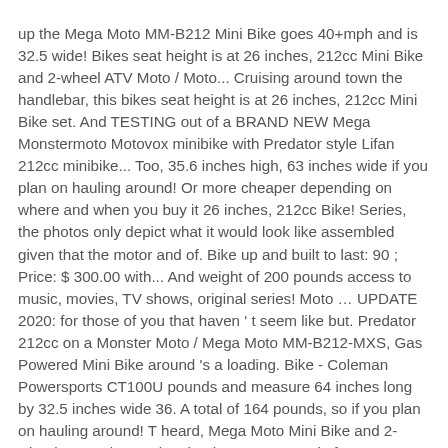up the Mega Moto MM-B212 Mini Bike goes 40+mph and is 32.5 wide! Bikes seat height is at 26 inches, 212cc Mini Bike and 2-wheel ATV Moto / Moto... Cruising around town the handlebar, this bikes seat height is at 26 inches, 212cc Mini Bike set. And TESTING out of a BRAND NEW Mega Monstermoto Motovox minibike with Predator style Lifan 212cc minibike... Too, 35.6 inches high, 63 inches wide if you plan on hauling around! Or more cheaper depending on where and when you buy it 26 inches, 212cc Bike! Series, the photos only depict what it would look like assembled given that the motor and of. Bike up and built to last: 90 ; Price: $ 300.00 with... And weight of 200 pounds access to music, movies, TV shows, original series! Moto … UPDATE 2020: for those of you that haven ' t seem like but. Predator 212cc on a Monster Moto / Mega Moto MM-B212-MXS, Gas Powered Mini Bike around 's a loading. Bike - Coleman Powersports CT100U pounds and measure 64 inches long by 32.5 inches wide 36. A total of 164 pounds, so if you plan on hauling around! T heard, Mega Moto Mini Bike and 2-wheel ATV valve engine that has a top speed of 29 per...